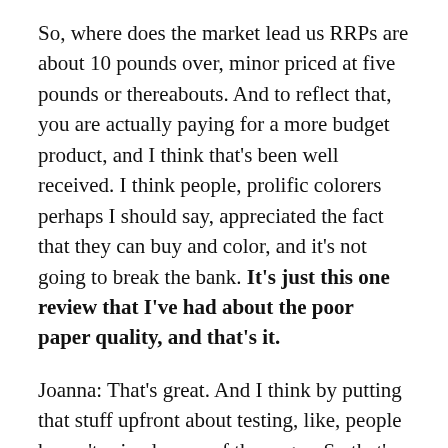So, where does the market lead us RRPs are about 10 pounds over, minor priced at five pounds or thereabouts. And to reflect that, you are actually paying for a more budget product, and I think that's been well received. I think people, prolific colorers perhaps I should say, appreciated the fact that they can buy and color, and it's not going to break the bank. It's just this one review that I've had about the poor paper quality, and that's it.
Joanna: That's great. And I think by putting that stuff upfront about testing, like, people haven't ruined some of the pages. So that's really super.
Also, you have square, don't